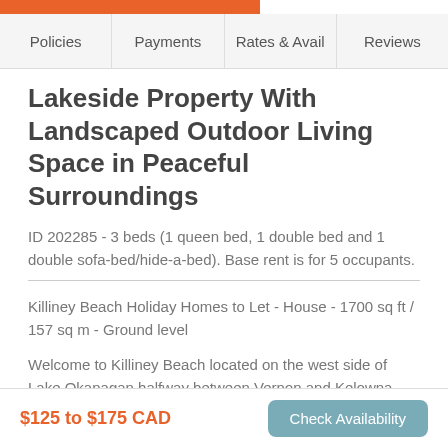Policies | Payments | Rates & Avail | Reviews
Lakeside Property With Landscaped Outdoor Living Space in Peaceful Surroundings
ID 202285 - 3 beds (1 queen bed, 1 double bed and 1 double sofa-bed/hide-a-bed). Base rent is for 5 occupants.
Killiney Beach Holiday Homes to Let - House - 1700 sq ft / 157 sq m - Ground level
Welcome to Killiney Beach located on the west side of Lake Okanagan halfway between Vernon and Kelowna along Westside Road.
$125 to $175 CAD | Check Availability